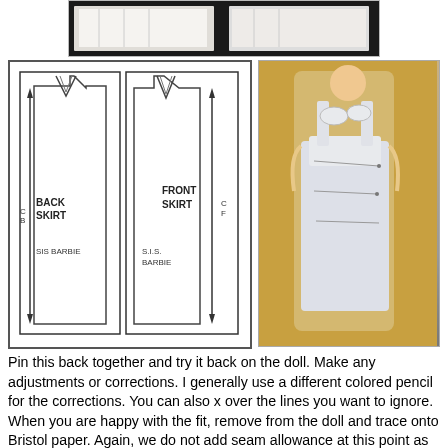[Figure (photo): Top photo showing fabric pinned together on dark background]
[Figure (illustration): Hand-drawn sewing pattern sketch showing Back Skirt and Front Skirt pieces labeled 'SIS BARBIE' and 'S.I.S. BARBIE']
[Figure (photo): Photo of a Barbie doll wearing a pinned white/grey skirt on yellow background]
Pin this back together and try it back on the doll. Make any adjustments or corrections. I generally use a different colored pencil for the corrections. You can also x over the lines you want to ignore. When you are happy with the fit, remove from the doll and trace onto Bristol paper. Again, we do not add seam allowance at this point as the slopers (or blocks) are used to create a variety of different patterns which we will explore later.
Adding seam allowance to the basic sloper results in a classic straight skirt. For the waistband, I use a narrow